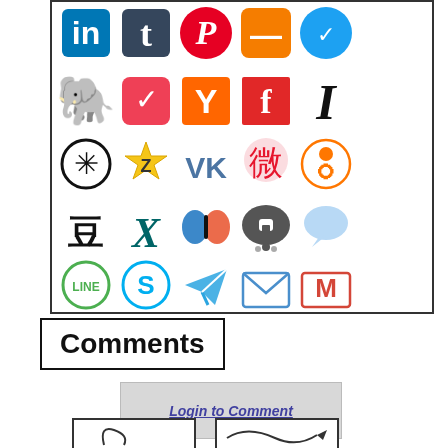[Figure (illustration): Grid of social media and messaging app icons including LinkedIn, Tumblr, Pinterest, Blogger, Twitter, Evernote, Pocket, Hacker News, Flipboard, Instapaper, Pinwheel, Stumbleupon, VK, Weibo, Odnoklassniki, Douban, Xing, Weiyun, Wickr, iMessage, LINE, Skype, Telegram, Mail, Gmail, Yahoo]
Comments
Login to Comment